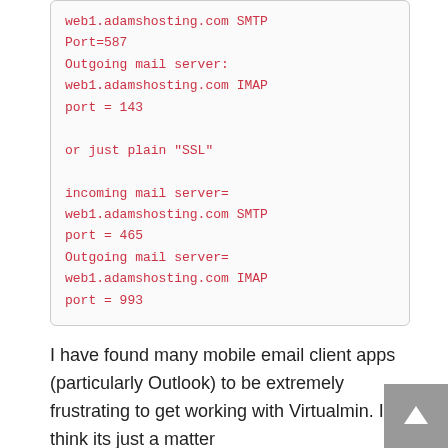web1.adamshosting.com SMTP Port=587
Outgoing mail server: web1.adamshosting.com IMAP port = 143

or just plain "SSL"

incoming mail server= web1.adamshosting.com SMTP port = 465
Outgoing mail server= web1.adamshosting.com IMAP port = 993
I have found many mobile email client apps (particularly Outlook) to be extremely frustrating to get working with Virtualmin. I think its just a matter